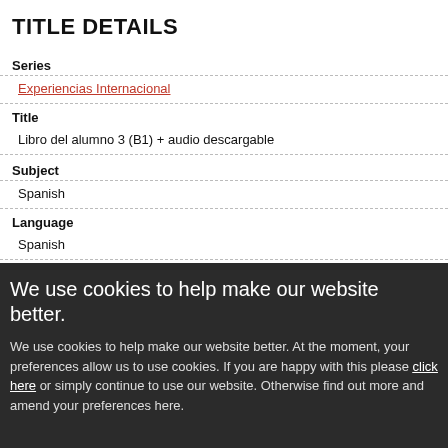TITLE DETAILS
Series
Experiencias Internacional
Title
Libro del alumno 3 (B1) + audio descargable
Subject
Spanish
Language
Spanish
We use cookies to help make our website better.
We use cookies to help make our website better. At the moment, your preferences allow us to use cookies. If you are happy with this please click here or simply continue to use our website. Otherwise find out more and amend your preferences here.